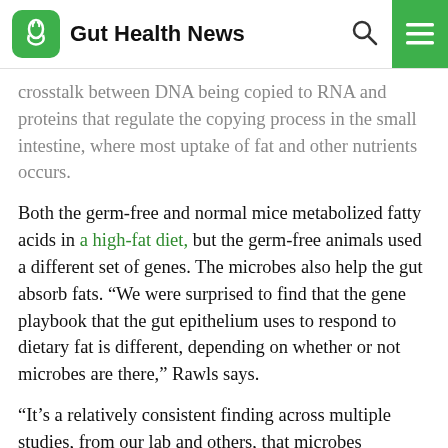Gut Health News
crosstalk between DNA being copied to RNA and proteins that regulate the copying process in the small intestine, where most uptake of fat and other nutrients occurs.
Both the germ-free and normal mice metabolized fatty acids in a high-fat diet, but the germ-free animals used a different set of genes. The microbes also help the gut absorb fats. “We were surprised to find that the gene playbook that the gut epithelium uses to respond to dietary fat is different, depending on whether or not microbes are there,” Rawls says.
“It’s a relatively consistent finding across multiple studies, from our lab and others, that microbes